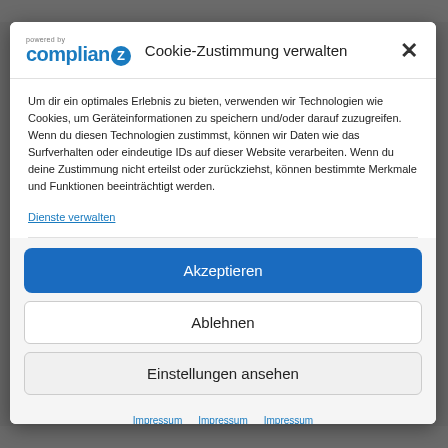[blurred background text top]
[Figure (logo): ComplianeZ logo with 'powered by' text above and blue lettering]
Cookie-Zustimmung verwalten
Um dir ein optimales Erlebnis zu bieten, verwenden wir Technologien wie Cookies, um Geräteinformationen zu speichern und/oder darauf zuzugreifen. Wenn du diesen Technologien zustimmst, können wir Daten wie das Surfverhalten oder eindeutige IDs auf dieser Website verarbeiten. Wenn du deine Zustimmung nicht erteilst oder zurückziehst, können bestimmte Merkmale und Funktionen beeinträchtigt werden.
Dienste verwalten
Akzeptieren
Ablehnen
Einstellungen ansehen
Impressum  Impressum  Impressum
[blurred background text bottom]